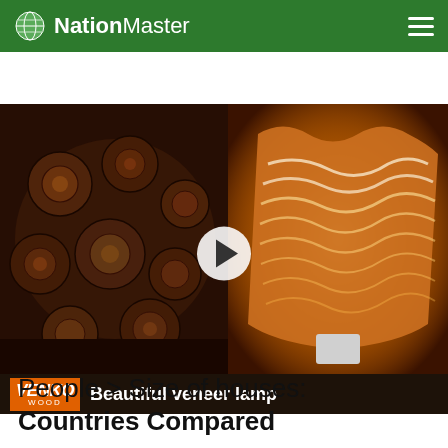NationMaster
[Figure (photo): Video thumbnail showing two images side by side: left image shows a wall of wood logs/chunks, right image shows a glowing veneer lamp with wavy patterns. A play button is overlaid in the center. Below is a VENKO WOOD branded caption bar reading 'Beautiful veneer lamp'.]
People > Size of houses: Countries Compared
Home / Country Info / Stats / People / Size of houses
The only point being made here is that